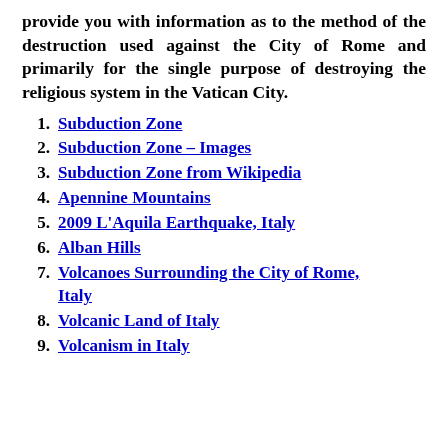provide you with information as to the method of the destruction used against the City of Rome and primarily for the single purpose of destroying the religious system in the Vatican City.
Subduction Zone
Subduction Zone – Images
Subduction Zone from Wikipedia
Apennine Mountains
2009 L'Aquila Earthquake, Italy
Alban Hills
Volcanoes Surrounding the City of Rome, Italy
Volcanic Land of Italy
Volcanism in Italy